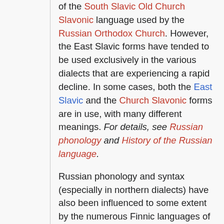of the South Slavic Old Church Slavonic language used by the Russian Orthodox Church. However, the East Slavic forms have tended to be used exclusively in the various dialects that are experiencing a rapid decline. In some cases, both the East Slavic and the Church Slavonic forms are in use, with many different meanings. For details, see Russian phonology and History of the Russian language.
Russian phonology and syntax (especially in northern dialects) have also been influenced to some extent by the numerous Finnic languages of the Finno-Ugric subfamily: Merya, Moksha, Muromian, the language of the Meshchera, Veps, et cetera. These languages, some of them now extinct, used to be spoken in the center and in the north of what is now the European part of Russia. They came in contact with Eastern Slavic as far back as the early Middle Ages and eventually served as substratum for the modern Russian language. The Russian dialects spoken north, north-east